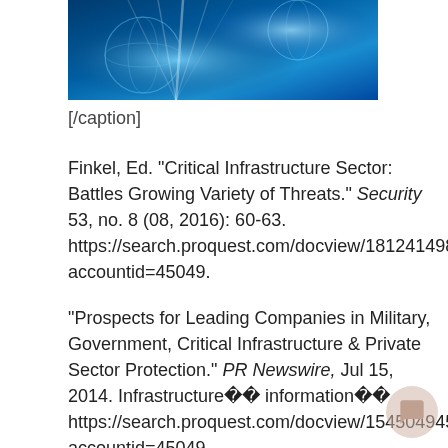[Figure (photo): Blue digital globe / technology background image, partially cropped at top]
[/caption]
Finkel, Ed. "Critical Infrastructure Sector: Battles Growing Variety of Threats." Security 53, no. 8 (08, 2016): 60-63. https://search.proquest.com/docview/1812414989?accountid=45049.
"Prospects for Leading Companies in Military, Government, Critical Infrastructure & Private Sector Protection." PR Newswire, Jul 15, 2014. Infrastructure   information   https://search.proquest.com/docview/1545049455?accountid=45049.